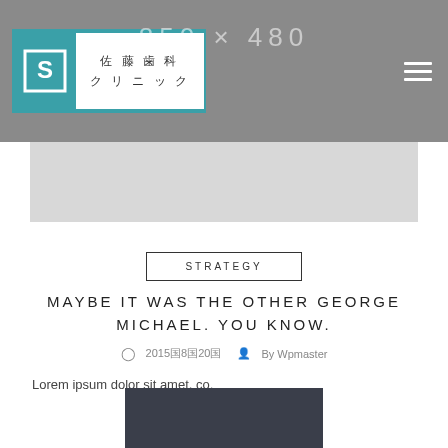[Figure (screenshot): Website header with logo showing 佐藤歯科クリニック (Sato Dental Clinic) with teal S icon, gray background with '850 x 480' placeholder text, and hamburger menu icon]
MAYBE IT WAS THE OTHER GEORGE MICHAEL. YOU KNOW.
🕐 2015年8月20日  👤 By Wpmaster
Lorem ipsum dolor sit amet, co.